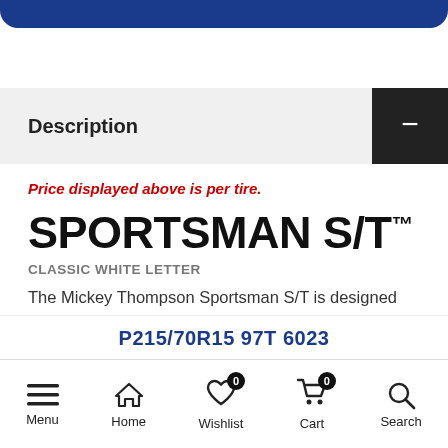Description
Price displayed above is per tire.
SPORTSMAN S/T™
CLASSIC WHITE LETTER
The Mickey Thompson Sportsman S/T is designed for original muscle car owners demanding performance, quality and style. Optional raised white letters or black sidewall with a low-profile look provides the wide all
P215/70R15 97T 6023
Menu  Home  Wishlist 0  Cart 0  Search